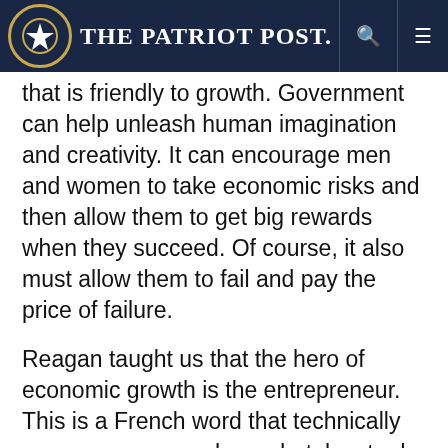The Patriot Post
that is friendly to growth. Government can help unleash human imagination and creativity. It can encourage men and women to take economic risks and then allow them to get big rewards when they succeed. Of course, it also must allow them to fail and pay the price of failure.
Reagan taught us that the hero of economic growth is the entrepreneur. This is a French word that technically means someone who undertakes to do something. But when translated into the American language, entrepreneur means much more. It is the entrepreneur who gets the new ideas, takes the risks, tries the new things. It is the entrepreneur who works long and hard, who finds the money for risky ventures, who breaks the rules, who is the pioneer and the inventor. Truly, entrepreneurs are the heroes